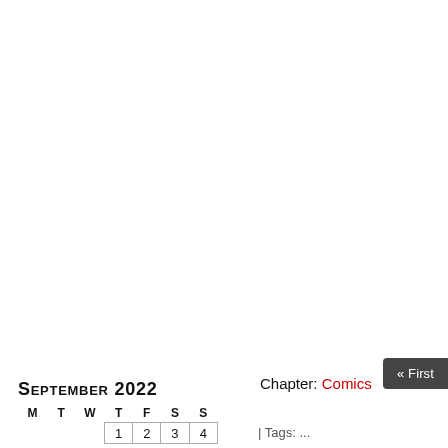« First
September 2022
| M | T | W | T | F | S | S |
| --- | --- | --- | --- | --- | --- | --- |
|  |  |  | 1 | 2 | 3 | 4 |
Chapter: Comics
| Tags: ...